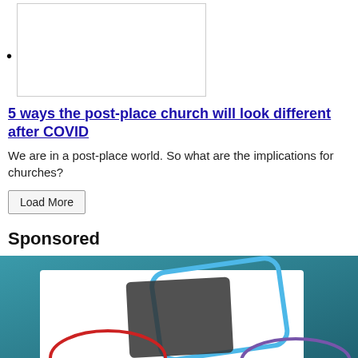[Figure (photo): Rectangular image placeholder with border at top of page]
5 ways the post-place church will look different after COVID
We are in a post-place world. So what are the implications for churches?
Load More
Sponsored
[Figure (photo): Sponsored advertisement image with teal/blue background showing white cards with colored oval outlines (red, blue, purple)]